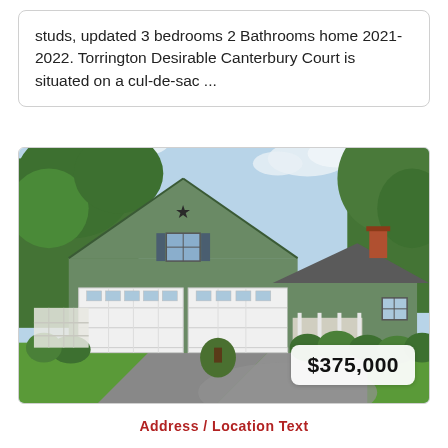studs, updated 3 bedrooms 2 Bathrooms home 2021-2022. Torrington Desirable Canterbury Court is situated on a cul-de-sac ...
[Figure (photo): Exterior photo of a green colonial-style home with two-car garage, chimney, front porch, landscaping, and a driveway. A price badge showing $375,000 is overlaid in the bottom-right corner.]
$375,000